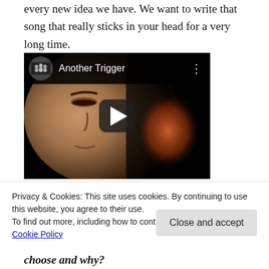every new idea we have. We want to write that song that really sticks in your head for a very long time.
[Figure (screenshot): YouTube video embed titled 'Another Trigger' showing a close-up face with a play button overlay]
Privacy & Cookies: This site uses cookies. By continuing to use this website, you agree to their use.
To find out more, including how to control cookies, see here: Cookie Policy
choose and why?